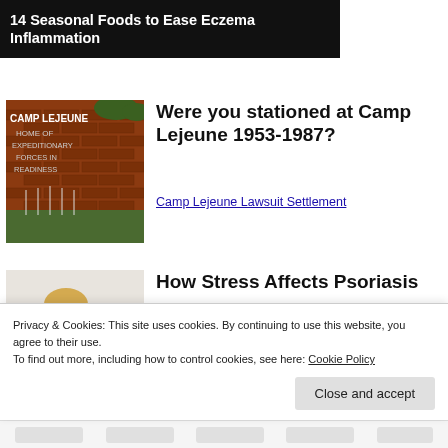[Figure (photo): Dark banner with bold white text: 14 Seasonal Foods to Ease Eczema Inflammation]
[Figure (photo): Camp Lejeune sign on brick wall reading CAMP LEJEUNE HOME OF EXPEDITIONARY FORCES IN READINESS with military flags]
Were you stationed at Camp Lejeune 1953-1987?
Camp Lejeune Lawsuit Settlement
[Figure (photo): Woman with blonde hair in yellow sweater looking down, writing or studying]
How Stress Affects Psoriasis
HealthCentral.com
Privacy & Cookies: This site uses cookies. By continuing to use this website, you agree to their use.
To find out more, including how to control cookies, see here: Cookie Policy
Close and accept